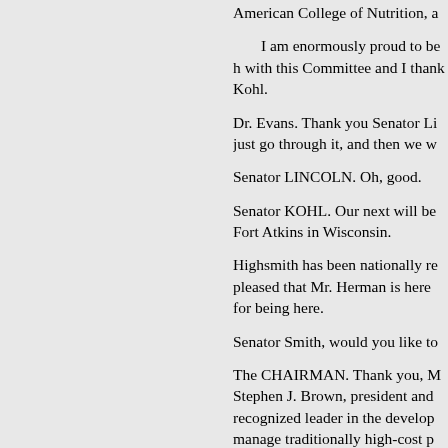American College of Nutrition, a
I am enormously proud to be h with this Committee and I thank Kohl.
Dr. Evans. Thank you Senator Li just go through it, and then we w
Senator LINCOLN. Oh, good.
Senator KOHL. Our next will be Fort Atkins in Wisconsin.
Highsmith has been nationally re pleased that Mr. Herman is here for being here.
Senator Smith, would you like to
The CHAIRMAN. Thank you, M Stephen J. Brown, president and recognized leader in the develop manage traditionally high-cost p
Their technology is currently bei Veterans' Administration, to mor disease, diabetes, asthma, post a
Additionally, Health Hero Ne